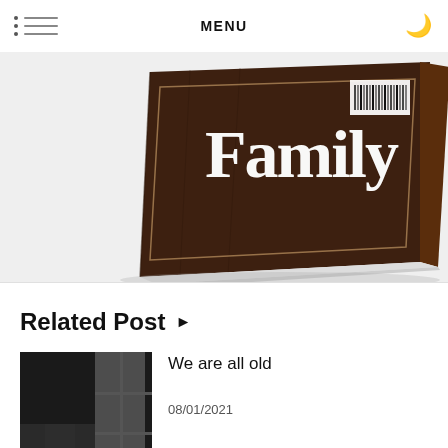MENU
[Figure (photo): A family photo album book with dark wood cover displaying the word 'Family' in large white serif font, with a barcode sticker visible, shown at an angle]
Related Post ▶
[Figure (photo): Black and white photograph of an elderly person sitting by a window in a dimly lit room]
We are all old
08/01/2021